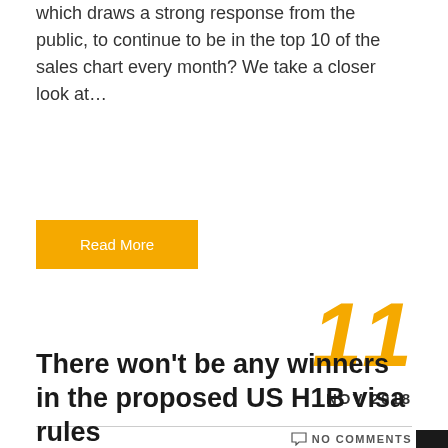which draws a strong response from the public, to continue to be in the top 10 of the sales chart every month? We take a closer look at…
Read More
11
NOV 2018
NO COMMENTS
There won't be any winners in the proposed US H1B visa rules